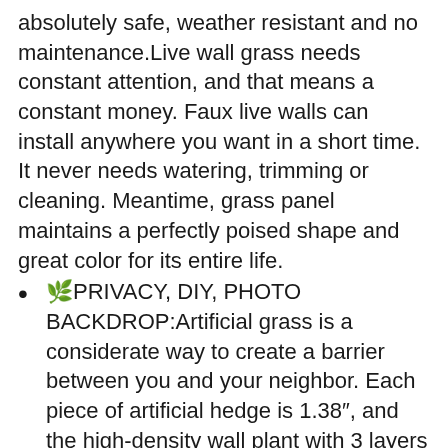absolutely safe, weather resistant and no maintenance.Live wall grass needs constant attention, and that means a constant money. Faux live walls can install anywhere you want in a short time. It never needs watering, trimming or cleaning. Meantime, grass panel maintains a perfectly poised shape and great color for its entire life.
🌿PRIVACY, DIY, PHOTO BACKDROP:Artificial grass is a considerate way to create a barrier between you and your neighbor. Each piece of artificial hedge is 1.38″, and the high-density wall plant with 3 layers of leaves can protect your privacy well, on the back of each wall panel is a separated plastic grid (19 x